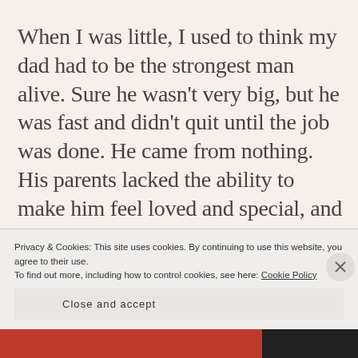When I was little, I used to think my dad had to be the strongest man alive. Sure he wasn't very big, but he was fast and didn't quit until the job was done. He came from nothing. His parents lacked the ability to make him feel loved and special, and this town certainly wasn't kind to him for most of his life. Yet, he never held it against people, not even his asshole parents. My dad did whatever he could to help someone out, even if secretly he
Privacy & Cookies: This site uses cookies. By continuing to use this website, you agree to their use.
To find out more, including how to control cookies, see here: Cookie Policy
Close and accept